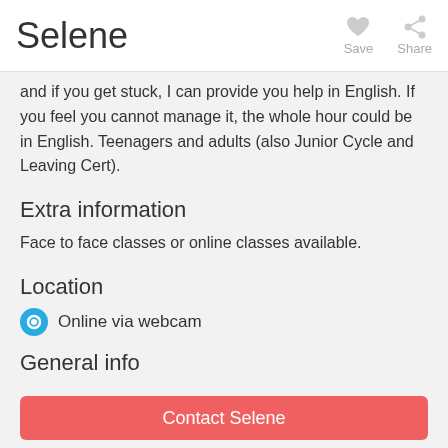Selene  Save  Share
and if you get stuck, I can provide you help in English. If you feel you cannot manage it, the whole hour could be in English. Teenagers and adults (also Junior Cycle and Leaving Cert).
Extra information
Face to face classes or online classes available.
Location
Online via webcam
General info
Contact Selene